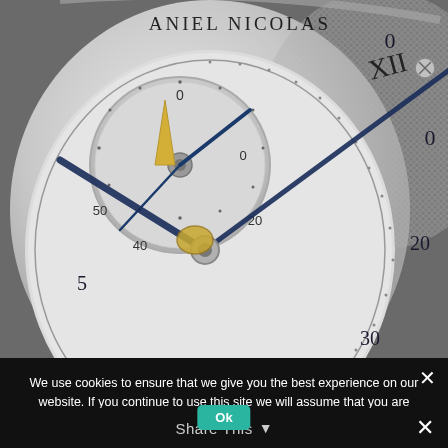[Figure (photo): Close-up macro photograph of a luxury watch movement/dial. Shows the Daniel Nicolas watch face with Roman numerals, blued steel hands, a sub-dial with minute track (0-50), tourbillon mechanism with pink/ruby jewel visible, gold accents, and intricate mechanical movement components. The watch face is silver/white with an ornate engraved movement visible below.]
We use cookies to ensure that we give you the best experience on our website. If you continue to use this site we will assume that you are happy with it.
[Figure (other): Ok button (teal/green) overlaid on Share This bar with dropdown arrow, and close X button at right]